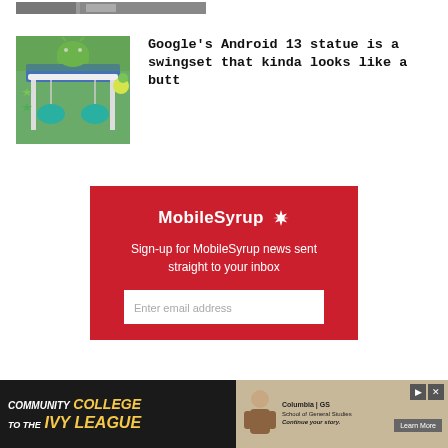[Figure (photo): Partial top strip of a building photo]
[Figure (photo): Google Android 13 swingset statue in an outdoor park setting, with green Android robot figure on top of a swingset]
Google’s Android 13 statue is a swingset that kinda looks like a butt
[Figure (infographic): MobileSyrup newsletter signup box with red background, logo, and email input field]
[Figure (infographic): Advertisement banner: Community College to the Ivy League - Columbia GS Learn More]